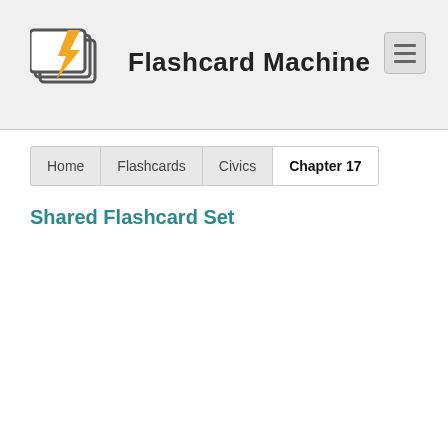[Figure (logo): Flashcard Machine logo with lightning bolt icon and text 'Flashcard Machine']
Home | Flashcards | Civics | Chapter 17
Shared Flashcard Set